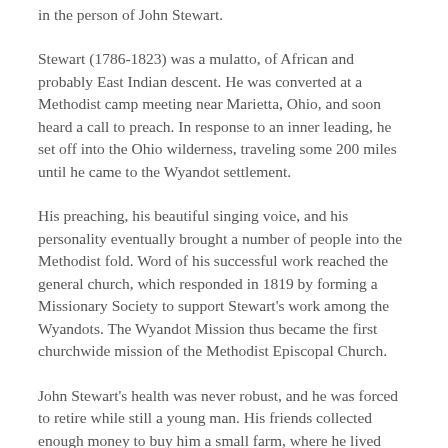in the person of John Stewart.
Stewart (1786-1823) was a mulatto, of African and probably East Indian descent. He was converted at a Methodist camp meeting near Marietta, Ohio, and soon heard a call to preach. In response to an inner leading, he set off into the Ohio wilderness, traveling some 200 miles until he came to the Wyandot settlement.
His preaching, his beautiful singing voice, and his personality eventually brought a number of people into the Methodist fold. Word of his successful work reached the general church, which responded in 1819 by forming a Missionary Society to support Stewart's work among the Wyandots. The Wyandot Mission thus became the first churchwide mission of the Methodist Episcopal Church.
John Stewart's health was never robust, and he was forced to retire while still a young man. His friends collected enough money to buy him a small farm, where he lived with his wife until his death in 1823. He was thirty-seven years old.